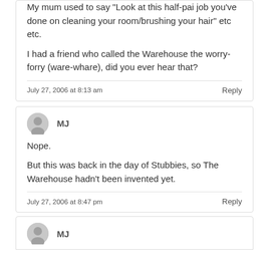My mum used to say “Look at this half-pai job you’ve done on cleaning your room/brushing your hair” etc etc.

I had a friend who called the Warehouse the worry-forry (ware-whare), did you ever hear that?
July 27, 2006 at 8:13 am
Reply
MJ
Nope.

But this was back in the day of Stubbies, so The Warehouse hadn’t been invented yet.
July 27, 2006 at 8:47 pm
Reply
MJ